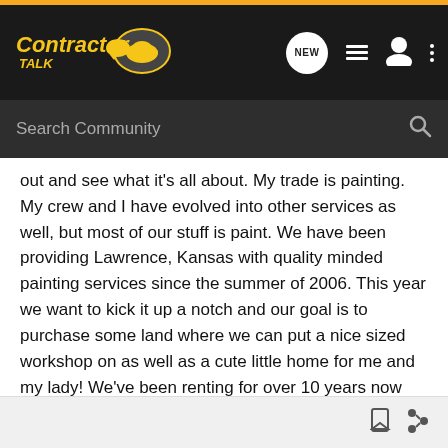[Figure (screenshot): ContractorTalk website header with logo, navigation icons (NEW, list, user, dots), search bar reading 'Search Community']
out and see what it's all about. My trade is painting. My crew and I have evolved into other services as well, but most of our stuff is paint. We have been providing Lawrence, Kansas with quality minded painting services since the summer of 2006. This year we want to kick it up a notch and our goal is to purchase some land where we can put a nice sized workshop on as well as a cute little home for me and my lady! We've been renting for over 10 years now and are tired of putting our money into someone elses account. We're always open to new ideas on how to maximize our profitability margins so please chime in, thanks.